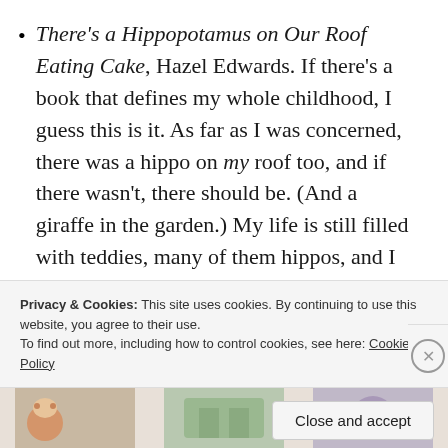There's a Hippopotamus on Our Roof Eating Cake, Hazel Edwards. If there's a book that defines my whole childhood, I guess this is it. As far as I was concerned, there was a hippo on my roof too, and if there wasn't, there should be. (And a giraffe in the garden.) My life is still filled with teddies, many of them hippos, and I keep a copy of this book in sight of my desk. And there's still a hippopotamus on my roof, although sometimes now he worries about his
Privacy & Cookies: This site uses cookies. By continuing to use this website, you agree to their use.
To find out more, including how to control cookies, see here: Cookie Policy
Close and accept